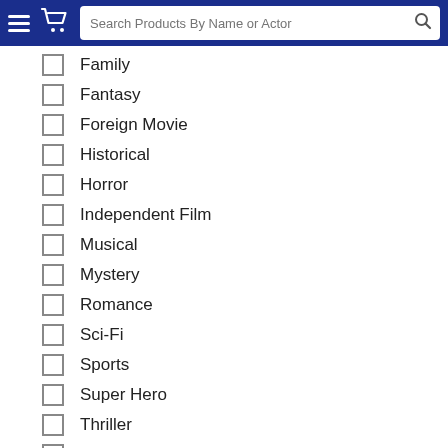[Figure (screenshot): Blue navigation header bar with hamburger menu icon, shopping cart icon, and search bar with placeholder text 'Search Products By Name or Actor']
Family
Fantasy
Foreign Movie
Historical
Horror
Independent Film
Musical
Mystery
Romance
Sci-Fi
Sports
Super Hero
Thriller
Western